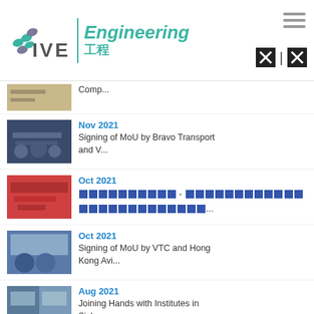[Figure (logo): IVE Engineering logo with teal dots and text]
Comp...
Nov 2021 - Signing of MoU by Bravo Transport and V...
Oct 2021 - [Chinese characters]...
Oct 2021 - Signing of MoU by VTC and Hong Kong Avi...
Aug 2021 - Joining Hands with Institutes in Sichua...
Aug 2021 - International Symposium on Advances in ...